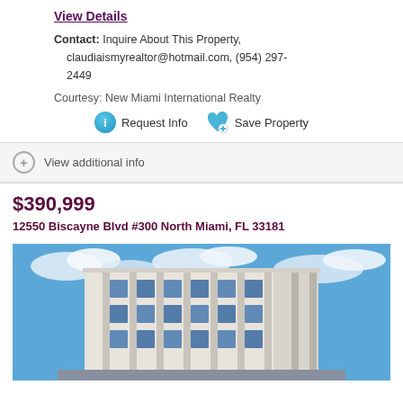View Details
Contact: Inquire About This Property, claudiaismyrealtor@hotmail.com, (954) 297-2449
Courtesy: New Miami International Realty
Request Info   Save Property
View additional info
$390,999
12550 Biscayne Blvd #300 North Miami, FL 33181
[Figure (photo): Exterior photo of a modern multi-story office building with white and gray facade, vertical architectural fins, blue glass windows, against a partly cloudy blue sky.]